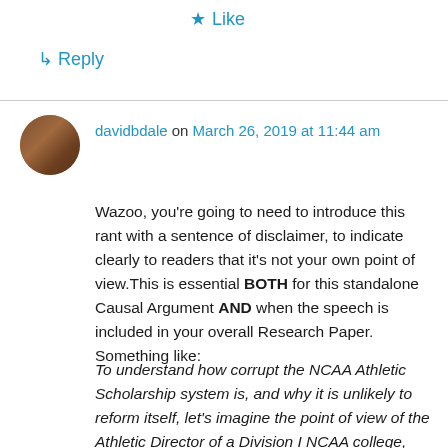★ Like
↳ Reply
davidbdale on March 26, 2019 at 11:44 am
Wazoo, you're going to need to introduce this rant with a sentence of disclaimer, to indicate clearly to readers that it's not your own point of view.This is essential BOTH for this standalone Causal Argument AND when the speech is included in your overall Research Paper. Something like:
To understand how corrupt the NCAA Athletic Scholarship system is, and why it is unlikely to reform itself, let's imagine the point of view of the Athletic Director of a Division I NCAA college,